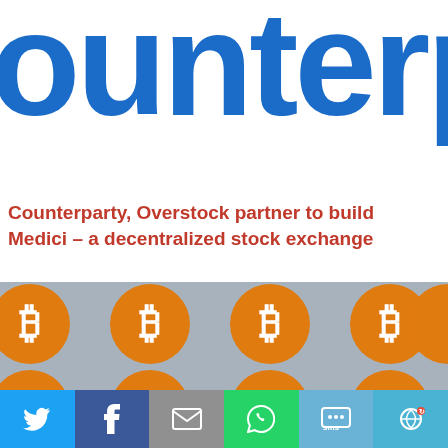[Figure (logo): Counterparty logo — large bold blue text showing 'ounter' (partially cropped, showing 'ounterp')]
Counterparty, Overstock partner to build Medici – a decentralized stock exchange
[Figure (photo): Photo of multiple orange Bitcoin coins/stickers with the Bitcoin 'B' symbol arranged in a grid pattern on a grey background]
[Figure (infographic): Social sharing bar with Twitter (blue), Facebook (dark blue), Email (grey), WhatsApp (green), SMS (light blue), and More (teal) buttons with white icons]